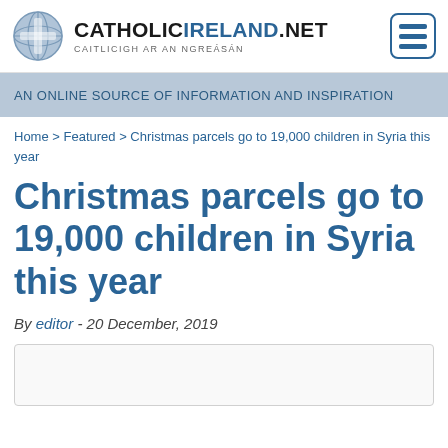CATHOLICIRELAND.NET — CAITLICIGH AR AN NGREASAN
AN ONLINE SOURCE OF INFORMATION AND INSPIRATION
Home > Featured > Christmas parcels go to 19,000 children in Syria this year
Christmas parcels go to 19,000 children in Syria this year
By editor - 20 December, 2019